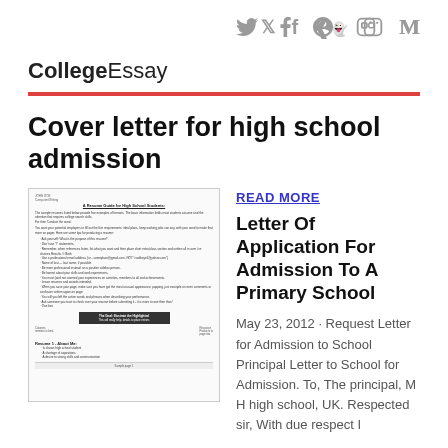Twitter Facebook Snapchat Instagram M
CollegeEssay
Cover letter for high school admission
[Figure (illustration): Thumbnail of a Resume Guide for High School Students document showing bulleted list and highlighted section]
READ MORE
Letter Of Application For Admission To A Primary School
May 23, 2012 · Request Letter for Admission to School Principal Letter to School for Admission. To, The principal, M H high school, UK. Respected sir, With due respect I